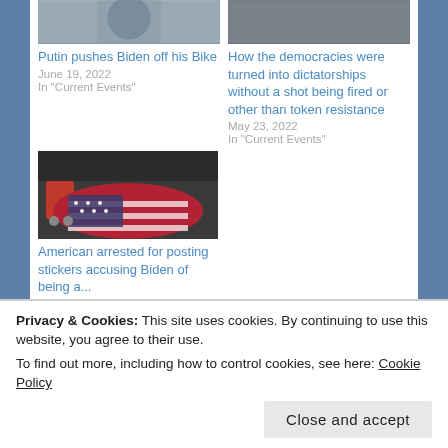[Figure (photo): Thumbnail image top left article]
Putin pushes Biden off his Bike
June 19, 2022
In "Current Events"
[Figure (photo): Thumbnail image top right article]
How the democracies were turned into dictatorships without a shot being fired or other than token resistance
May 23, 2022
In "Current Events"
[Figure (photo): Person covered with American flag, sleeping near shopping cart]
American arrested for posting stickers accusing Biden of being a...
Privacy & Cookies: This site uses cookies. By continuing to use this website, you agree to their use.
To find out more, including how to control cookies, see here: Cookie Policy
Close and accept
Categories: Current Events